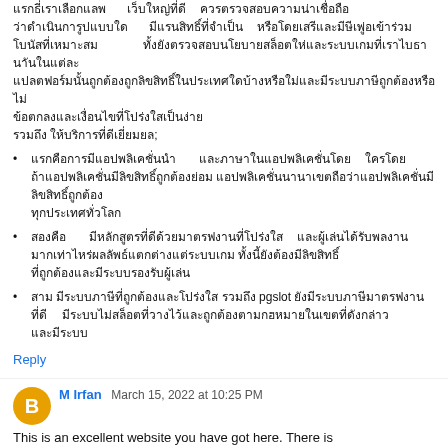[Thai text paragraph - main body text in Thai language]
[Thai bullet point 1 - Thai language text]
[Thai bullet point 2 - Thai language text]
[Thai bullet point 3 - Thai language text with 'pgslot' mention]
Reply
M Irfan  March 15, 2022 at 10:25 PM
This is an excellent website you have got here. There is